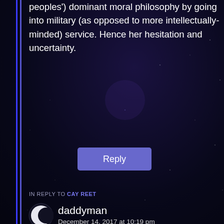peoples') dominant moral philosophy by going into military (as opposed to more intellectually-minded) service. Hence her hesitation and uncertainty.
Reply
IN REPLY TO CAY REET
daddyman
December 14, 2017 at 10:19 pm
I have watched Every episode of the show and have Yet to see one person ‘making fun of a woman who doesn’t confirm to expectations’